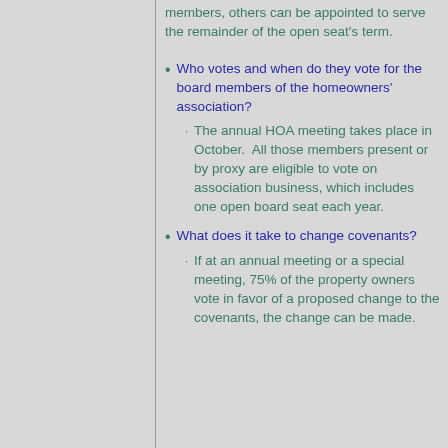members, others can be appointed to serve the remainder of the open seat's term.
Who votes and when do they vote for the board members of the homeowners' association?
The annual HOA meeting takes place in October.  All those members present or by proxy are eligible to vote on association business, which includes one open board seat each year.
What does it take to change covenants?
If at an annual meeting or a special meeting, 75% of the property owners vote in favor of a proposed change to the covenants, the change can be made.